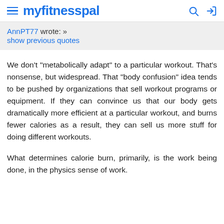myfitnesspal
AnnPT77 wrote: »
show previous quotes
We don't "metabolically adapt" to a particular workout. That's nonsense, but widespread. That "body confusion" idea tends to be pushed by organizations that sell workout programs or equipment. If they can convince us that our body gets dramatically more efficient at a particular workout, and burns fewer calories as a result, they can sell us more stuff for doing different workouts.
What determines calorie burn, primarily, is the work being done, in the physics sense of work.